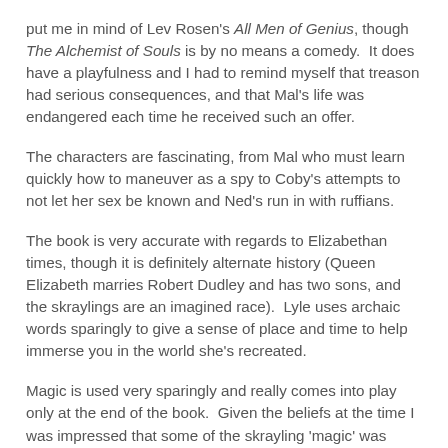put me in mind of Lev Rosen's All Men of Genius, though The Alchemist of Souls is by no means a comedy.  It does have a playfulness and I had to remind myself that treason had serious consequences, and that Mal's life was endangered each time he received such an offer.
The characters are fascinating, from Mal who must learn quickly how to maneuver as a spy to Coby's attempts to not let her sex be known and Ned's run in with ruffians.
The book is very accurate with regards to Elizabethan times, though it is definitely alternate history (Queen Elizabeth marries Robert Dudley and has two sons, and the skraylings are an imagined race).  Lyle uses archaic words sparingly to give a sense of place and time to help immerse you in the world she's recreated.
Magic is used very sparingly and really comes into play only at the end of the book.  Given the beliefs at the time I was impressed that some of the skrayling 'magic' was passed off as advanced learning in medicine and technology.  The limited use of real magic helped keep the world real, despite